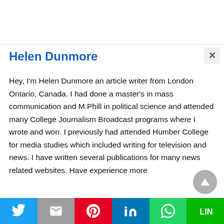Helen Dunmore
Hey, I'm Helen Dunmore an article writer from London Ontario, Canada. I had done a master's in mass communication and M.Phill in political science and attended many College Journalism Broadcast programs where I wrote and won. I previously had attended Humber College for media studies which included writing for television and news. I have written several publications for many news related websites. Have experience more